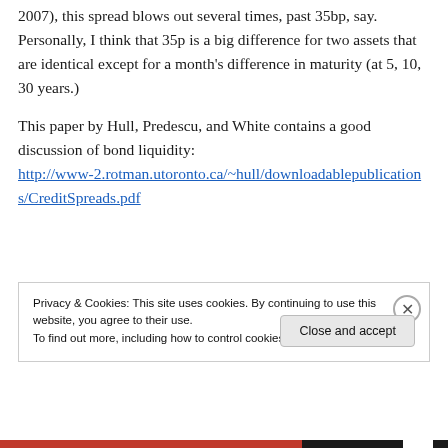2007), this spread blows out several times, past 35bp, say. Personally, I think that 35p is a big difference for two assets that are identical except for a month's difference in maturity (at 5, 10, 30 years.)
This paper by Hull, Predescu, and White contains a good discussion of bond liquidity: http://www-2.rotman.utoronto.ca/~hull/downloadablepublications/CreditSpreads.pdf
Privacy & Cookies: This site uses cookies. By continuing to use this website, you agree to their use. To find out more, including how to control cookies, see here: Cookie Policy